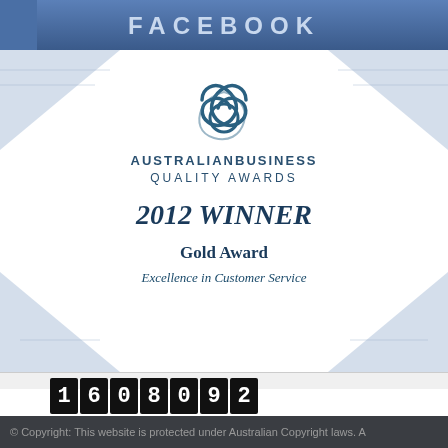[Figure (logo): Facebook banner bar with blue gradient background and FACEBOOK text]
[Figure (illustration): Australian Business Quality Awards 2012 Winner Gold Award badge. Blue and white diamond/chevron decorative border. Logo with swirl icon, text: AUSTRALIANBUSINESS QUALITY AWARDS, 2012 WINNER (italic), Gold Award (bold), Excellence in Customer Service (italic)]
1608092
Your IP: 107.20.105.197
Iphone , Mac
Today: Aug 18, 2022
© Copyright: This website is protected under Australian Copyright laws. A